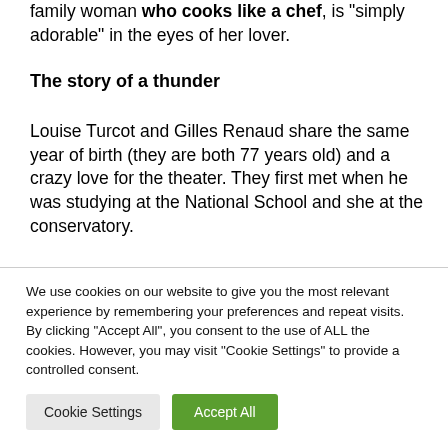family woman who cooks like a chef, is “simply adorable” in the eyes of her lover.
The story of a thunder
Louise Turcot and Gilles Renaud share the same year of birth (they are both 77 years old) and a crazy love for the theater. They first met when he was studying at the National School and she at the conservatory.
We use cookies on our website to give you the most relevant experience by remembering your preferences and repeat visits. By clicking “Accept All”, you consent to the use of ALL the cookies. However, you may visit "Cookie Settings" to provide a controlled consent.